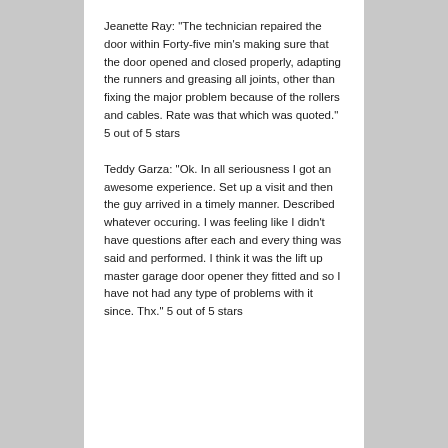Jeanette Ray: "The technician repaired the door within Forty-five min's making sure that the door opened and closed properly, adapting the runners and greasing all joints, other than fixing the major problem because of the rollers and cables. Rate was that which was quoted." 5 out of 5 stars
Teddy Garza: "Ok. In all seriousness I got an awesome experience. Set up a visit and then the guy arrived in a timely manner. Described whatever occuring. I was feeling like I didn't have questions after each and every thing was said and performed. I think it was the lift up master garage door opener they fitted and so I have not had any type of problems with it since. Thx." 5 out of 5 stars